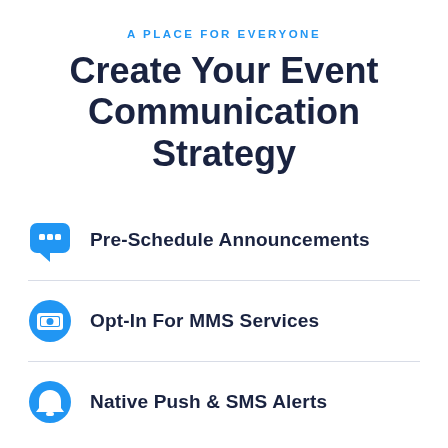A PLACE FOR EVERYONE
Create Your Event Communication Strategy
Pre-Schedule Announcements
Opt-In For MMS Services
Native Push & SMS Alerts